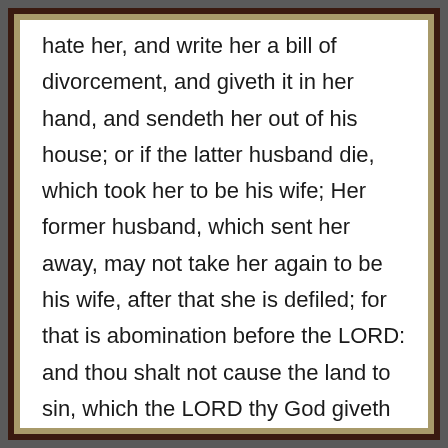hate her, and write her a bill of divorcement, and giveth it in her hand, and sendeth her out of his house; or if the latter husband die, which took her to be his wife; Her former husband, which sent her away, may not take her again to be his wife, after that she is defiled; for that is abomination before the LORD: and thou shalt not cause the land to sin, which the LORD thy God giveth thee for an inheritance. "